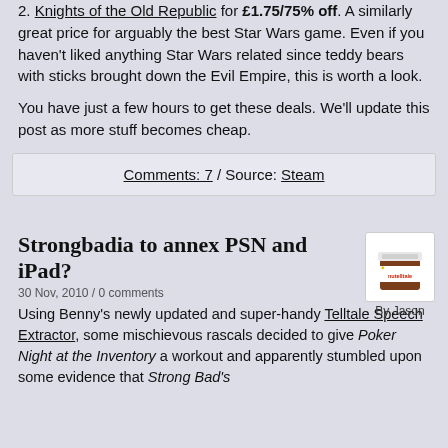2. Knights of the Old Republic for £1.75/75% off. A similarly great price for arguably the best Star Wars game. Even if you haven't liked anything Star Wars related since teddy bears with sticks brought down the Evil Empire, this is worth a look.
You have just a few hours to get these deals. We'll update this post as more stuff becomes cheap.
Comments: 7 / Source: Steam
Strongbadia to annex PSN and iPad?
30 Nov, 2010 / 0 comments
[Figure (logo): Nutelltale logo — a jar of Nutella with the label reading 'nutelltale']
By Jason
Using Benny's newly updated and super-handy Telltale Speech Extractor, some mischievous rascals decided to give Poker Night at the Inventory a workout and apparently stumbled upon some evidence that Strong Bad's